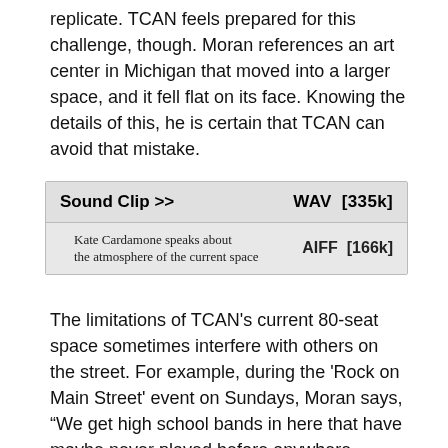replicate. TCAN feels prepared for this challenge, though. Moran references an art center in Michigan that moved into a larger space, and it fell flat on its face. Knowing the details of this, he is certain that TCAN can avoid that mistake.
| Sound Clip >> | WAV [335k] |
| --- | --- |
| Kate Cardamone speaks about the atmosphere of the current space | AIFF [166k] |
The limitations of TCAN's current 80-seat space sometimes interfere with others on the street. For example, during the 'Rock on Main Street' event on Sundays, Moran says, “We get high school bands in here that have maybe never played before anywhere except in the cellar. They roll in these monstrous machines, these big column speakers. The blow us